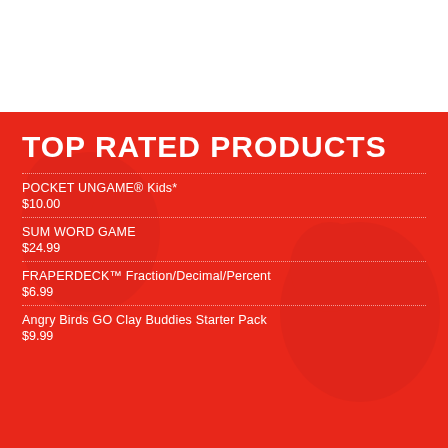TOP RATED PRODUCTS
POCKET UNGAME® Kids*
$10.00
SUM WORD GAME
$24.99
FRAPERDECK™ Fraction/Decimal/Percent
$6.99
Angry Birds GO Clay Buddies Starter Pack
$9.99